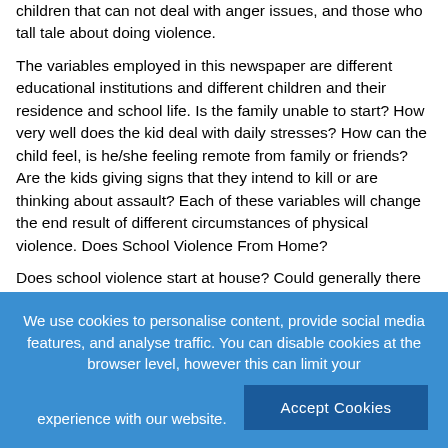children that can not deal with anger issues, and those who tall tale about doing violence.
The variables employed in this newspaper are different educational institutions and different children and their residence and school life. Is the family unable to start? How very well does the kid deal with daily stresses? How can the child feel, is he/she feeling remote from family or friends? Are the kids giving signs that they intend to kill or are thinking about assault? Each of these variables will change the end result of different circumstances of physical violence. Does School Violence From Home?
Does school violence start at house? Could generally there he some other reasons for college lenience? The violence in Littleton, Co known as the Columbine Tragedy is just one example. In addition there are tragedies, or perhaps attacks, in Sensors Arkansas and Berceau Kentucky, then on to Or and Virginia. We seam to mourn real violence such as these tragedy and relish simulated physical violence...
We use cookies to personalise content, provide social media features, and analyse traffic. You can disable cookies at the browser level, however this can limit your experience with our website.
Accept Cookies